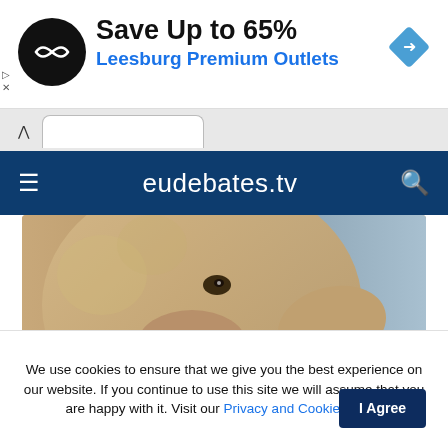[Figure (infographic): Advertisement banner: Save Up to 65% at Leesburg Premium Outlets with logo and navigation icon]
[Figure (screenshot): Browser tab bar with chevron and open tab]
eudebates.tv
[Figure (photo): Close-up photo of a sheep's face against a light sky background, with category tag AGRICULTURE - FOOD and headline EU Parliament asks farmers to gradually end caged farming]
AGRICULTURE - FOOD
EU Parliament asks farmers to gradually end caged farming
We use cookies to ensure that we give you the best experience on our website. If you continue to use this site we will assume that you are happy with it. Visit our Privacy and Cookie Policy.